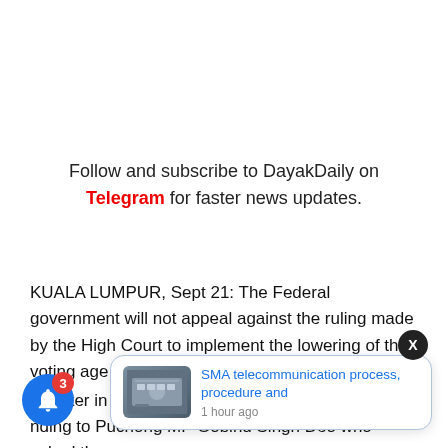Follow and subscribe to DayakDaily on Telegram for faster news updates.
KUALA LUMPUR, Sept 21: The Federal government will not appeal against the ruling made by the High Court to implement the lowering of the voting age to 18 (Undi18).
Minister in the P... Datuk Seri ... nding to Puchong MP Gobind Singh Deo who asked the Federal government the status and the status of the...
[Figure (photo): Thumbnail image showing a group of people in formal attire]
SMA telecommunication process, procedure and
1 hour ago